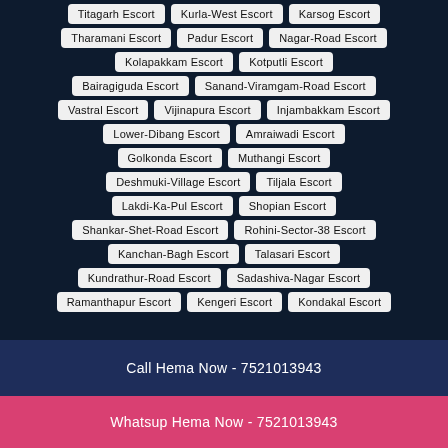Titagarh Escort
Kurla-West Escort
Karsog Escort
Tharamani Escort
Padur Escort
Nagar-Road Escort
Kolapakkam Escort
Kotputli Escort
Bairagiguda Escort
Sanand-Viramgam-Road Escort
Vastral Escort
Vijinapura Escort
Injambakkam Escort
Lower-Dibang Escort
Amraiwadi Escort
Golkonda Escort
Muthangi Escort
Deshmuki-Village Escort
Tiljala Escort
Lakdi-Ka-Pul Escort
Shopian Escort
Shankar-Shet-Road Escort
Rohini-Sector-38 Escort
Kanchan-Bagh Escort
Talasari Escort
Kundrathur-Road Escort
Sadashiva-Nagar Escort
Ramanthapur Escort
Kengeri Escort
Kondakal Escort
Call Hema Now - 7521013943
Whatsup Hema Now - 7521013943